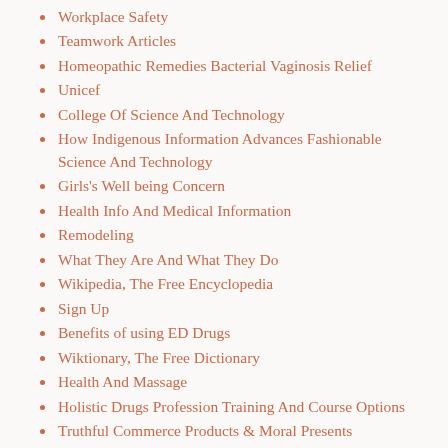Workplace Safety
Teamwork Articles
Homeopathic Remedies Bacterial Vaginosis Relief
Unicef
College Of Science And Technology
How Indigenous Information Advances Fashionable Science And Technology
Girls's Well being Concern
Health Info And Medical Information
Remodeling
What They Are And What They Do
Wikipedia, The Free Encyclopedia
Sign Up
Benefits of using ED Drugs
Wiktionary, The Free Dictionary
Health And Massage
Holistic Drugs Profession Training And Course Options
Truthful Commerce Products & Moral Presents
Working Effectively With Mentally In poor health Dwelling Care Sufferers